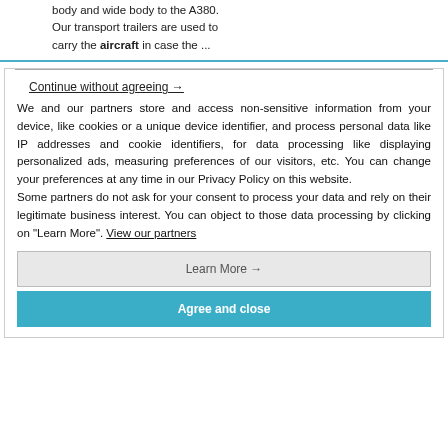body and wide body to the A380. Our transport trailers are used to carry the aircraft in case the ...
Continue without agreeing →
We and our partners store and access non-sensitive information from your device, like cookies or a unique device identifier, and process personal data like IP addresses and cookie identifiers, for data processing like displaying personalized ads, measuring preferences of our visitors, etc. You can change your preferences at any time in our Privacy Policy on this website.
Some partners do not ask for your consent to process your data and rely on their legitimate business interest. You can object to those data processing by clicking on "Learn More". View our partners
Learn More →
Agree and close